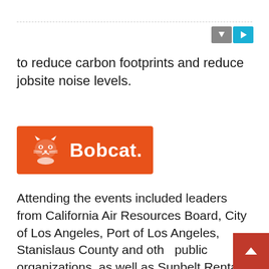to reduce carbon footprints and reduce jobsite noise levels.
[Figure (logo): Bobcat company logo: orange/red rectangle with white bobcat animal graphic on the left and white bold text 'Bobcat.' on the right]
Attending the events included leaders from California Air Resources Board, City of Los Angeles, Port of Los Angeles, Stanislaus County and other public organizations, as well as Sunbelt Rentals, Bobcat dealers and construction contractors.